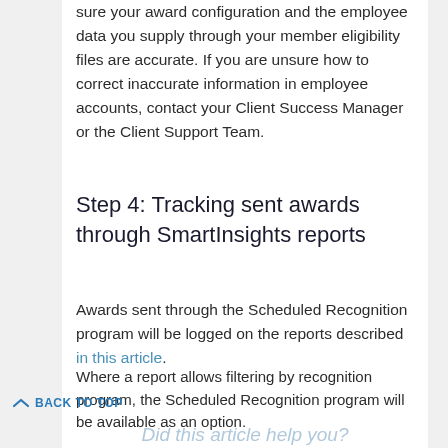sure your award configuration and the employee data you supply through your member eligibility files are accurate. If you are unsure how to correct inaccurate information in employee accounts, contact your Client Success Manager or the Client Support Team.
Step 4: Tracking sent awards through SmartInsights reports
Awards sent through the Scheduled Recognition program will be logged on the reports described in this article.
Where a report allows filtering by recognition program, the Scheduled Recognition program will be available as an option.
BACK TO TOP
Did this article help you?